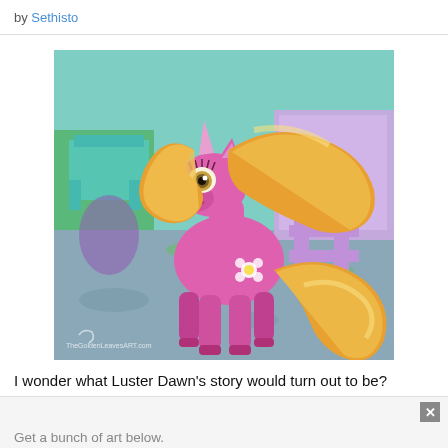by Sethisto
[Figure (illustration): Fan art illustration of Luster Dawn, a pink unicorn pony with golden wavy mane and tail, standing outdoors. The pony has a flower cutie mark and is smiling. Background shows a purple fence/sign structure and green grass area.]
I wonder what Luster Dawn's story would turn out to be?
Get a bunch of art below.